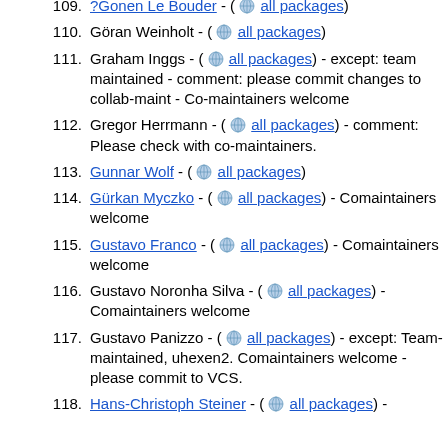109. ?Gonen Le Bouder - ( [globe] all packages )
110. Göran Weinholt - ( [globe] all packages )
111. Graham Inggs - ( [globe] all packages ) - except: team maintained - comment: please commit changes to collab-maint - Co-maintainers welcome
112. Gregor Herrmann - ( [globe] all packages ) - comment: Please check with co-maintainers.
113. Gunnar Wolf - ( [globe] all packages )
114. Gürkan Myczko - ( [globe] all packages ) - Comaintainers welcome
115. Gustavo Franco - ( [globe] all packages ) - Comaintainers welcome
116. Gustavo Noronha Silva - ( [globe] all packages ) - Comaintainers welcome
117. Gustavo Panizzo - ( [globe] all packages ) - except: Team-maintained, uhexen2. Comaintainers welcome - please commit to VCS.
118. Hans-Christoph Steiner - ( [globe] all packages ) -